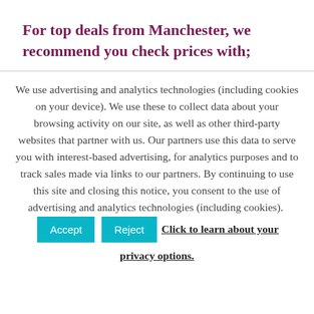For top deals from Manchester, we recommend you check prices with;
We use advertising and analytics technologies (including cookies on your device). We use these to collect data about your browsing activity on our site, as well as other third-party websites that partner with us. Our partners use this data to serve you with interest-based advertising, for analytics purposes and to track sales made via links to our partners. By continuing to use this site and closing this notice, you consent to the use of advertising and analytics technologies (including cookies). [Accept] [Reject] Click to learn about your privacy options.